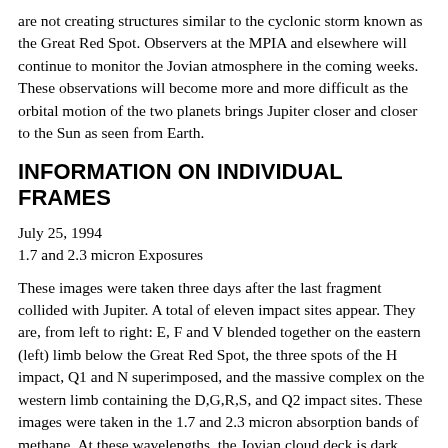are not creating structures similar to the cyclonic storm known as the Great Red Spot. Observers at the MPIA and elsewhere will continue to monitor the Jovian atmosphere in the coming weeks. These observations will become more and more difficult as the orbital motion of the two planets brings Jupiter closer and closer to the Sun as seen from Earth.
INFORMATION ON INDIVIDUAL FRAMES
July 25, 1994
1.7 and 2.3 micron Exposures
These images were taken three days after the last fragment collided with Jupiter. A total of eleven impact sites appear. They are, from left to right: E, F and V blended together on the eastern (left) limb below the Great Red Spot, the three spots of the H impact, Q1 and N superimposed, and the massive complex on the western limb containing the D,G,R,S, and Q2 impact sites. These images were taken in the 1.7 and 2.3 micron absorption bands of methane. At these wavelengths, the Jovian cloud deck is dark relative to the spots, which shine by reflected sunlight. These frames come from MAGIC, the Max-Planck-Institut fuer Astronomie General Purpose Infrared Camera. MAGIC was mounted on the 3.5 meter